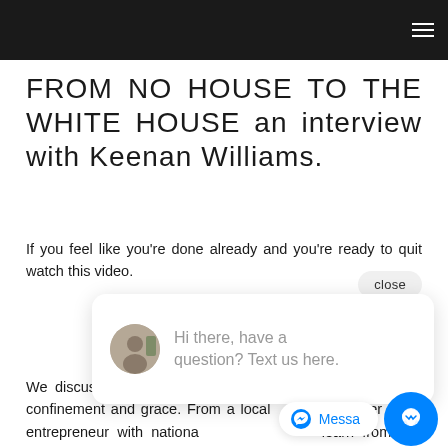[Figure (screenshot): Dark header bar with hamburger menu icon on the right side]
FROM NO HOUSE TO THE WHITE HOUSE an interview with Keenan Williams.
If you feel like you’re done already and you’re ready to quit watch this video.
[Figure (screenshot): Chat popup overlay with avatar photo and text: Hi there, have a question? Text us here.]
Whether you ha[ve made a series o]f mistakes there is[...]
We discuss poverty, prison and prosperity. Gangs, solitary confinement and grace. From a local [stree]t hustler to an entrepreneur with nationa[l reach, you'll] learn from this conversation.